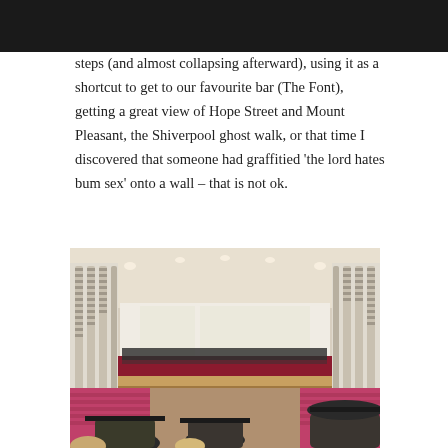steps (and almost collapsing afterward), using it as a shortcut to get to our favourite bar (The Font), getting a great view of Hope Street and Mount Pleasant, the Shiverpool ghost walk, or that time I discovered that someone had graffitied 'the lord hates bum sex' onto a wall – that is not ok.
[Figure (photo): Interior of a large ceremonial hall (likely Liverpool Metropolitan Cathedral or similar venue) during a graduation ceremony. The stage at the back shows graduates in academic dress seated in rows on risers. The auditorium has distinctive vertical white architectural columns along both sides. Pink/magenta theatre seats are visible in the foreground and sides. Graduates in mortarboard hats are visible in the foreground audience.]